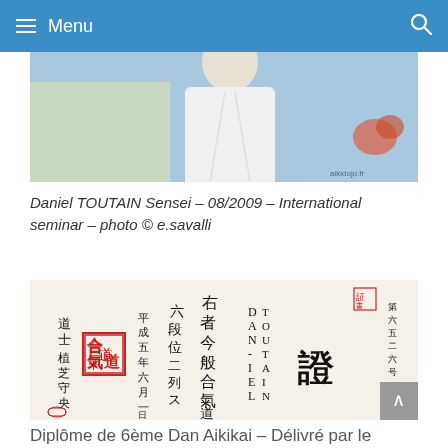≡ Menu
[Figure (photo): Photo of Daniel TOUTAIN Sensei in white aikido gi, international seminar, August 2009. Watermark: aikidojo.fr]
Daniel TOUTAIN Sensei – 08/2009 – International seminar – photo © e.savalli
[Figure (photo): Japanese aikido diploma (6th Dan Aikikai) with kanji calligraphy, red ink stamps, and the name DANIEL TOUTAIN written in vertical columns]
Diplôme de 6ème Dan Aikikai – Délivré par le